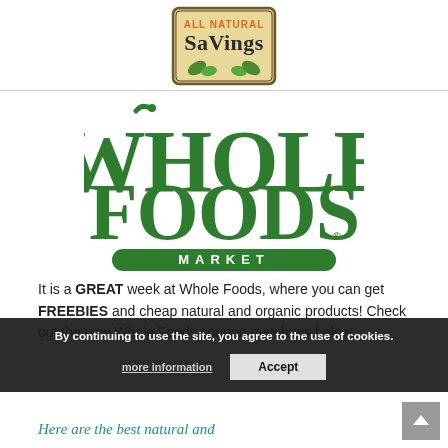[Figure (logo): All Natural Savings badge logo — orange text 'ALL NATURAL' above stylized 'SaVings' in dark text, with green leaf motifs, on a tan/cream background with dark border]
[Figure (logo): Whole Foods Market logo — large green block letters 'WHOLE FOODS' with decorative swash on the W, and 'MARKET' in a green oval banner below]
It is a GREAT week at Whole Foods, where you can get FREEBIES and cheap natural and organic products! Check out the new Whole Foods coupon matchups below.
By continuing to use the site, you agree to the use of cookies. more information  Accept
Here are the best natural and